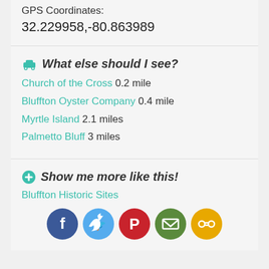GPS Coordinates:
32.229958,-80.863989
What else should I see?
Church of the Cross 0.2 mile
Bluffton Oyster Company 0.4 mile
Myrtle Island 2.1 miles
Palmetto Bluff 3 miles
Show me more like this!
Bluffton Historic Sites
[Figure (infographic): Social sharing buttons: Facebook, Twitter, Pinterest, Email, Link]